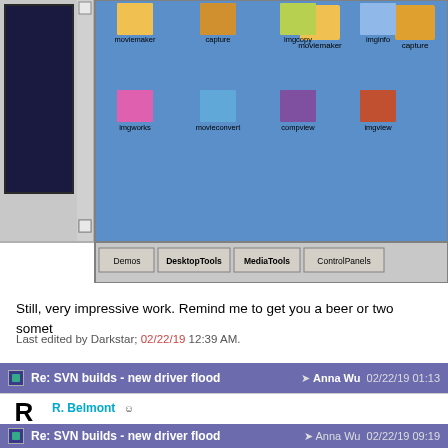[Figure (screenshot): Old OS desktop screenshot showing application icons (moviemaker, capture, imgcopy, imginfo, imgworks, movieconvert, compview, imgview) arranged on a blue background with tab bar showing Demos, DesktopTools, MediaTools, ControlPanels tabs]
Still, very impressive work. Remind me to get you a beer or two somet
Last edited by Darkstar; 02/22/19 12:39 AM.
Re: SVN builds - new driver flood  →  Anna Wu  02/22/19 01:13
R. Belmont
Very Senior Member
At a guess, R and G are swapped. Might be more than that though. G run at all 2 weeks ago I'll take it
Re: SVN builds - new driver flood  →  Anna Wu  02/22/19 09:19